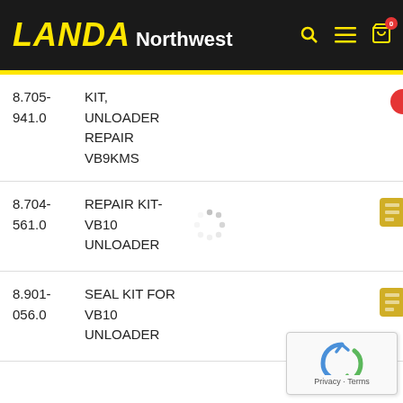LANDA Northwest
8.705-941.0 KIT, UNLOADER REPAIR VB9KMS
8.704-561.0 REPAIR KIT-VB10 UNLOADER
8.901-056.0 SEAL KIT FOR VB10 UNLOADER